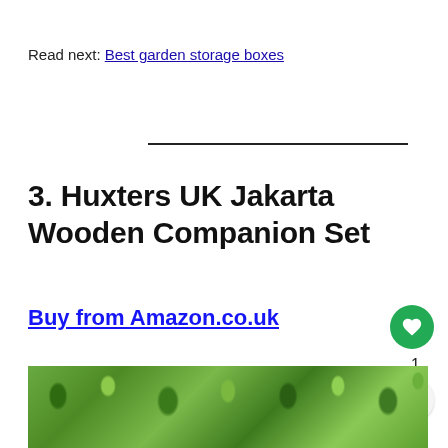Read next: Best garden storage boxes
3. Huxters UK Jakarta Wooden Companion Set
Buy from Amazon.co.uk
[Figure (photo): Green leafy garden plants visible at the bottom of the page]